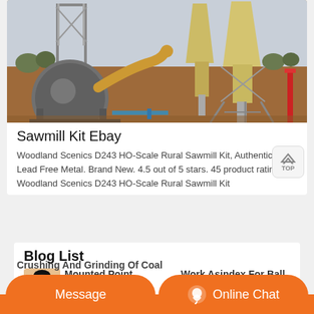[Figure (photo): Industrial grinding/milling equipment outdoors — large cylindrical ball mill on left, yellow cyclone separator towers on right, set on reddish-brown earthen ground with trees in background under overcast sky.]
Sawmill Kit Ebay
Woodland Scenics D243 HO-Scale Rural Sawmill Kit, Authentic, Lead Free Metal. Brand New. 4.5 out of 5 stars. 45 product ratings. - Woodland Scenics D243 HO-Scale Rural Sawmill Kit
Blog List
Mounted Point Grinding Stone   Work Asindex For Ball Mill
Crushing And Grinding Of Coal